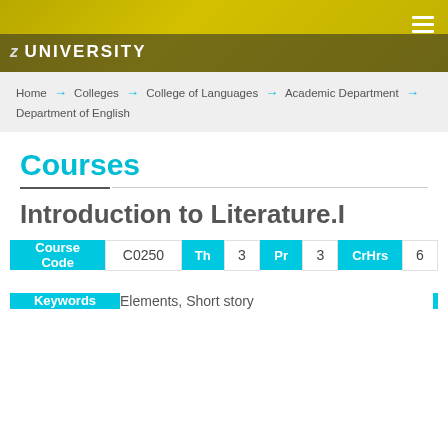[Figure (photo): University header banner with yellow background showing partial university name text and hamburger menu icon]
Home → Colleges → College of Languages → Academic Department → Department of English
Courses
Introduction to Literature.I
| Course Code | C0250 | Th | 3 | Pr | 3 | CrHrs | 6 |
| --- | --- | --- | --- | --- | --- | --- | --- |
| Keywords | Elements, Short story |
| --- | --- |